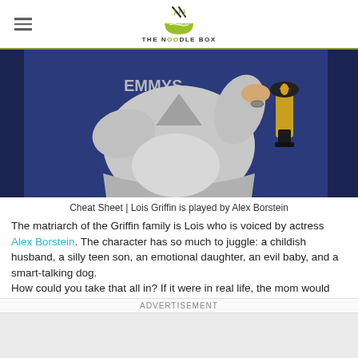THE NOODLE BOX
[Figure (photo): Woman in silver dress holding Emmy award trophy at Emmys event, NBC backdrop visible]
Cheat Sheet | Lois Griffin is played by Alex Borstein
The matriarch of the Griffin family is Lois who is voiced by actress Alex Borstein. The character has so much to juggle: a childish husband, a silly teen son, an emotional daughter, an evil baby, and a smart-talking dog.
How could you take that all in? If it were in real life, the mom would have gone crazy. She has got a very distinct nasal-ly voice that you would recognize immediately.
ADVERTISEMENT